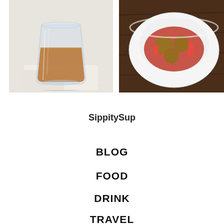[Figure (photo): A glass of amber-colored drink (whiskey/cocktail) on a white napkin against a light background]
[Figure (photo): A white bowl containing meatballs in red tomato sauce with peppers, on a dark wooden surface]
SippitySup
BLOG
FOOD
DRINK
TRAVEL